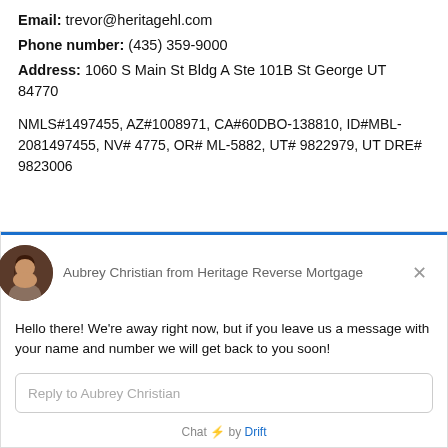Email: trevor@heritagehl.com
Phone number: (435) 359-9000
Address: 1060 S Main St Bldg A Ste 101B St George UT 84770
NMLS#1497455, AZ#1008971, CA#60DBO-138810, ID#MBL-2081497455, NV# 4775, OR# ML-5882, UT# 9822979, UT DRE# 9823006
[Figure (screenshot): Chat widget from Drift showing Aubrey Christian from Heritage Reverse Mortgage with away message and reply input field]